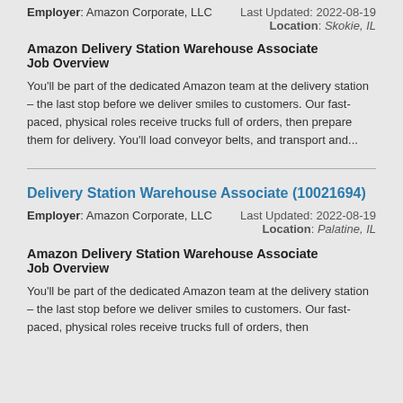Employer: Amazon Corporate, LLC    Last Updated: 2022-08-19    Location: Skokie, IL
Amazon Delivery Station Warehouse Associate
Job Overview
You'll be part of the dedicated Amazon team at the delivery station – the last stop before we deliver smiles to customers. Our fast-paced, physical roles receive trucks full of orders, then prepare them for delivery. You'll load conveyor belts, and transport and...
Delivery Station Warehouse Associate (10021694)
Employer: Amazon Corporate, LLC    Last Updated: 2022-08-19    Location: Palatine, IL
Amazon Delivery Station Warehouse Associate
Job Overview
You'll be part of the dedicated Amazon team at the delivery station – the last stop before we deliver smiles to customers. Our fast-paced, physical roles receive trucks full of orders, then